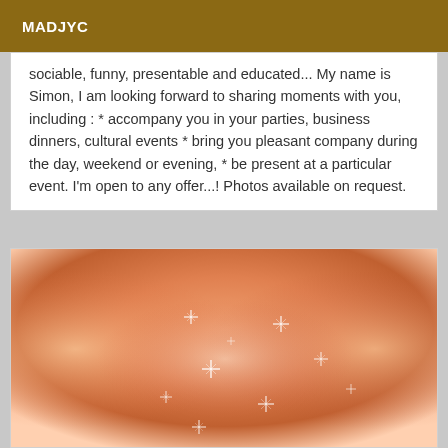MADJYC
sociable, funny, presentable and educated... My name is Simon, I am looking forward to sharing moments with you, including : * accompany you in your parties, business dinners, cultural events * bring you pleasant company during the day, weekend or evening, * be present at a particular event. I'm open to any offer...! Photos available on request.
[Figure (photo): An abstract/artistic photo with warm orange-peach tones and sparkle/glitter light effects overlay]